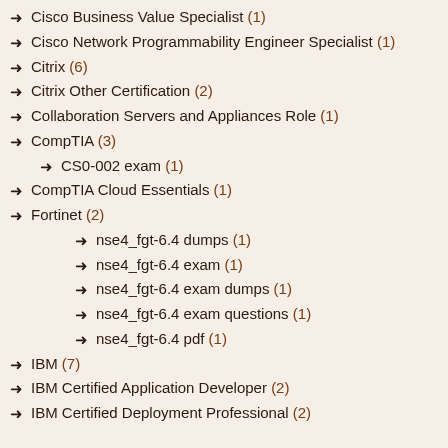Cisco Business Value Specialist (1)
Cisco Network Programmability Engineer Specialist (1)
Citrix (6)
Citrix Other Certification (2)
Collaboration Servers and Appliances Role (1)
CompTIA (3)
CS0-002 exam (1)
CompTIA Cloud Essentials (1)
Fortinet (2)
nse4_fgt-6.4 dumps (1)
nse4_fgt-6.4 exam (1)
nse4_fgt-6.4 exam dumps (1)
nse4_fgt-6.4 exam questions (1)
nse4_fgt-6.4 pdf (1)
IBM (7)
IBM Certified Application Developer (2)
IBM Certified Deployment Professional (2)